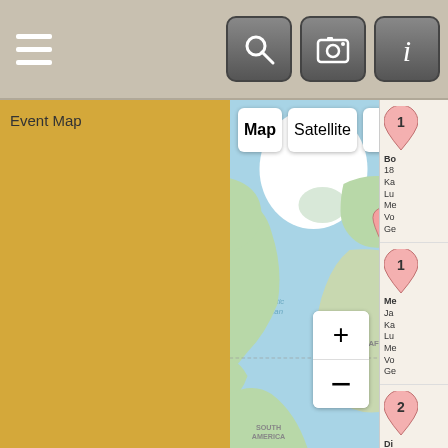[Figure (screenshot): Mobile app toolbar with hamburger menu on left and three icon buttons (search, camera, info) on right against gray background]
Event Map
[Figure (map): Google Maps world map view showing North America (pin 3), Europe (pin 1), and Africa region with a street view person icon. Map/Satellite toggle and zoom controls visible.]
[Figure (infographic): Right sidebar showing 4 map pin entries numbered 1, 2, 1, 3 with truncated text labels for event locations]